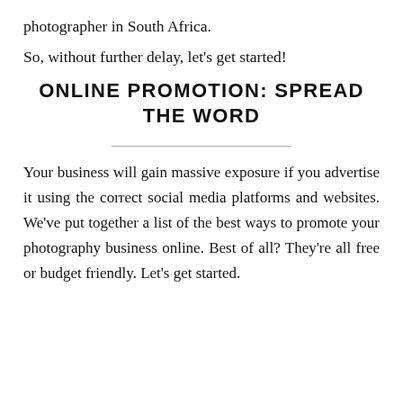photographer in South Africa.
So, without further delay, let’s get started!
ONLINE PROMOTION: SPREAD THE WORD
Your business will gain massive exposure if you advertise it using the correct social media platforms and websites. We’ve put together a list of the best ways to promote your photography business online. Best of all? They’re all free or budget friendly. Let’s get started.